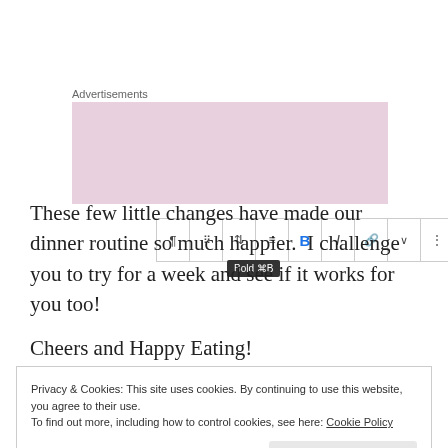Advertisements
[Figure (screenshot): Screenshot of a text editor toolbar showing formatting options including paragraph, bold (highlighted in blue), italic, link, and more. A tooltip reads 'Bold ⌘B' below the bold button.]
These few little changes have made our dinner routine so much happier.  I challenge you to try for a week and see if it works for you too!
Cheers and Happy Eating!
Privacy & Cookies: This site uses cookies. By continuing to use this website, you agree to their use.
To find out more, including how to control cookies, see here: Cookie Policy
Close and accept